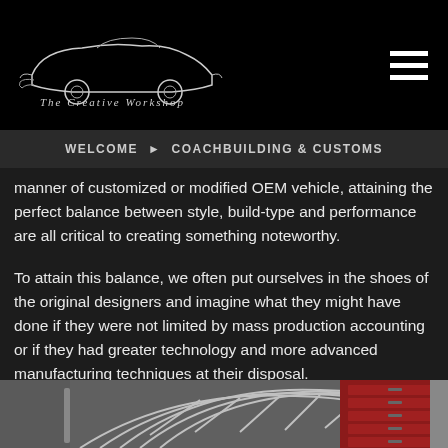[Figure (logo): The Creative Workshop logo — a stylized classic car silhouette above decorative text reading 'The Creative Workshop']
WELCOME ▶ COACHBUILDING & CUSTOMS
manner of customized or modified OEM vehicle, attaining the perfect balance between style, build-type and performance are all critical to creating something noteworthy.
To attain this balance, we often put ourselves in the shoes of the original designers and imagine what they might have done if they were not limited by mass production accounting or if they had greater technology and more advanced manufacturing techniques at their disposal.
[Figure (photo): Workshop photo showing metal frame/skeleton structure of a car body being fabricated, with red tool cabinet in background]